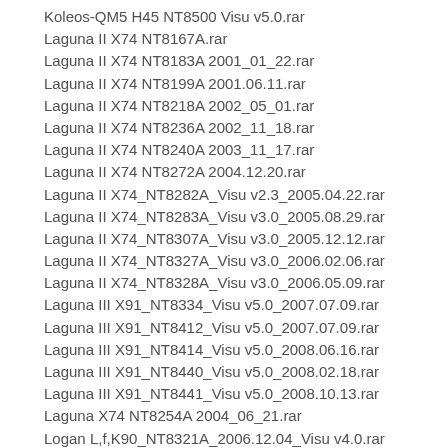Koleos-QM5 H45 NT8500 Visu v5.0.rar
Laguna II X74 NT8167A.rar
Laguna II X74 NT8183A 2001_01_22.rar
Laguna II X74 NT8199A 2001.06.11.rar
Laguna II X74 NT8218A 2002_05_01.rar
Laguna II X74 NT8236A 2002_11_18.rar
Laguna II X74 NT8240A 2003_11_17.rar
Laguna II X74 NT8272A 2004.12.20.rar
Laguna II X74_NT8282A_Visu v2.3_2005.04.22.rar
Laguna II X74_NT8283A_Visu v3.0_2005.08.29.rar
Laguna II X74_NT8307A_Visu v3.0_2005.12.12.rar
Laguna II X74_NT8327A_Visu v3.0_2006.02.06.rar
Laguna II X74_NT8328A_Visu v3.0_2006.05.09.rar
Laguna III X91_NT8334_Visu v5.0_2007.07.09.rar
Laguna III X91_NT8412_Visu v5.0_2007.07.09.rar
Laguna III X91_NT8414_Visu v5.0_2008.06.16.rar
Laguna III X91_NT8440_Visu v5.0_2008.02.18.rar
Laguna III X91_NT8441_Visu v5.0_2008.10.13.rar
Laguna X74 NT8254A 2004_06_21.rar
Logan L,f,K90_NT8321A_2006.12.04_Visu v4.0.rar
Logan L90 NT9800 c 07-2004.rar
Logan X90 NT8552_Visu v5.0_2011.04.11.rar
Logan X90 NT8585 Visu v5.0_2011.rar